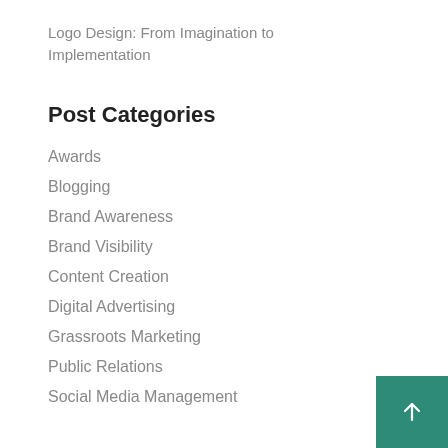Logo Design: From Imagination to Implementation
Post Categories
Awards
Blogging
Brand Awareness
Brand Visibility
Content Creation
Digital Advertising
Grassroots Marketing
Public Relations
Social Media Management